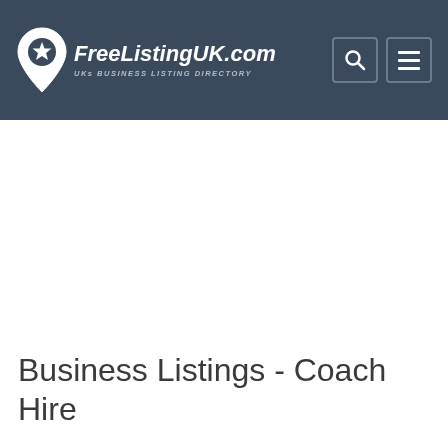FreeListingUK.com — UKs BUSINESS LISTING DIRECTORY
Business Listings - Coach Hire